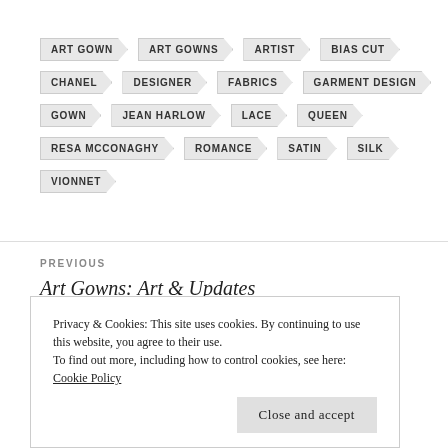ART GOWN
ART GOWNS
ARTIST
BIAS CUT
CHANEL
DESIGNER
FABRICS
GARMENT DESIGN
GOWN
JEAN HARLOW
LACE
QUEEN
RESA MCCONAGHY
ROMANCE
SATIN
SILK
VIONNET
PREVIOUS
Art Gowns: Art & Updates
Privacy & Cookies: This site uses cookies. By continuing to use this website, you agree to their use.
To find out more, including how to control cookies, see here: Cookie Policy
Close and accept